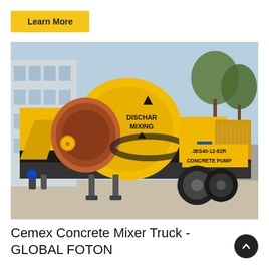Learn More
[Figure (photo): A large yellow concrete mixer pump truck (model JBS40-12-82R) with a round discharge drum labeled DISCHAR MIXING, mounted on a wheeled trailer chassis, parked outdoors with a building and trees in the background.]
Cemex Concrete Mixer Truck - GLOBAL FOTON